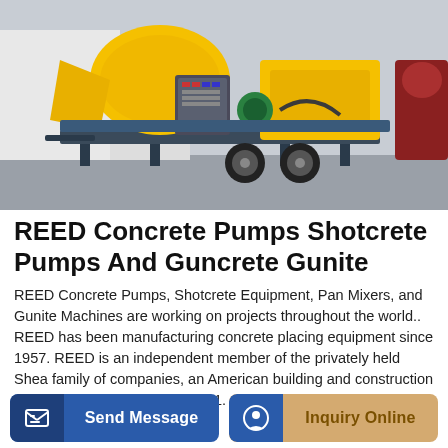[Figure (photo): Yellow concrete pump machine (REED) with mixing drum, control panel, and wheel, parked outdoors on a paved surface.]
REED Concrete Pumps Shotcrete Pumps And Guncrete Gunite
REED Concrete Pumps, Shotcrete Equipment, Pan Mixers, and Gunite Machines are working on projects throughout the world.. REED has been manufacturing concrete placing equipment since 1957. REED is an independent member of the privately held Shea family of companies, an American building and construction organization established in 1881.
Send Message
Inquiry Online